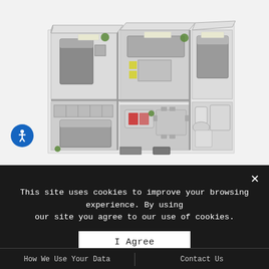[Figure (illustration): 3D isometric floor plan rendering of an apartment with multiple rooms including bedrooms, bathroom, living area, kitchen, and closets with furniture visible from above]
This site uses cookies to improve your browsing experience. By using our site you agree to our use of cookies.
I Agree
How We Use Your Data    Contact Us